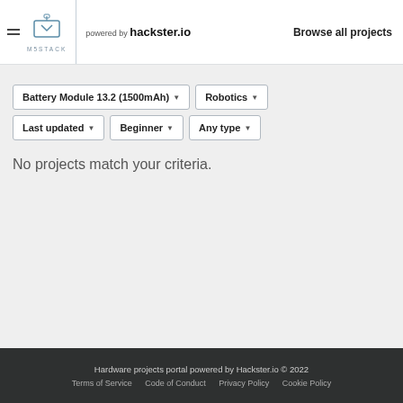M5STACK powered by hackster.io   Browse all projects
Battery Module 13.2 (1500mAh) ▾   Robotics ▾
Last updated ▾   Beginner ▾   Any type ▾
No projects match your criteria.
Hardware projects portal powered by Hackster.io © 2022   Terms of Service   Code of Conduct   Privacy Policy   Cookie Policy